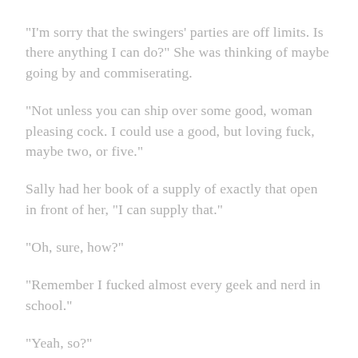“I’m sorry that the swingers’ parties are off limits. Is there anything I can do?” She was thinking of maybe going by and commiserating.
“Not unless you can ship over some good, woman pleasing cock. I could use a good, but loving fuck, maybe two, or five.”
Sally had her book of a supply of exactly that open in front of her, “I can supply that.”
“Oh, sure, how?”
“Remember I fucked almost every geek and nerd in school.”
“Yeah, so?”